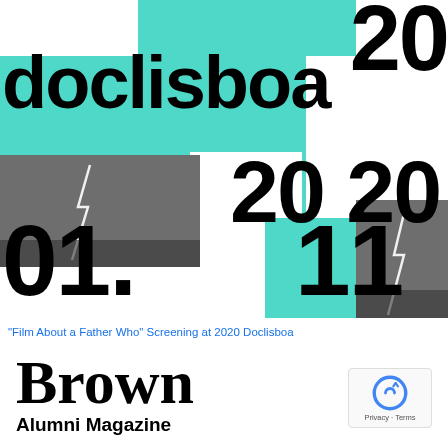[Figure (illustration): Doclisboa 2020 festival poster featuring teal/turquoise background blocks, large black text reading 'doclisboa', '20', '20 20', '01.', '11', and two lightning storm photography cutouts in grayscale.]
"Film About a Father Who" Screening at 2020 Doclisboa
[Figure (logo): Brown Alumni Magazine logo with large serif 'Brown' text and 'Alumni Magazine' beneath]
[Figure (other): reCAPTCHA badge with Privacy and Terms text]